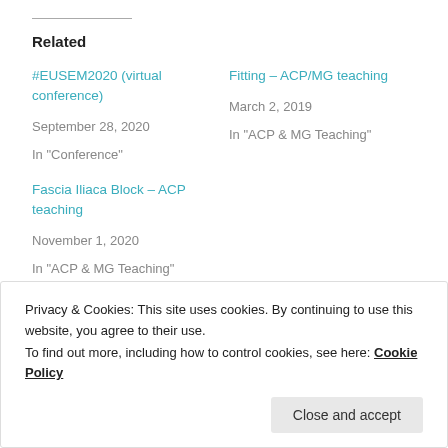Related
#EUSEM2020 (virtual conference)
September 28, 2020
In "Conference"
Fitting – ACP/MG teaching
March 2, 2019
In "ACP & MG Teaching"
Fascia Iliaca Block – ACP teaching
November 1, 2020
In "ACP & MG Teaching"
Privacy & Cookies: This site uses cookies. By continuing to use this website, you agree to their use.
To find out more, including how to control cookies, see here: Cookie Policy
Close and accept